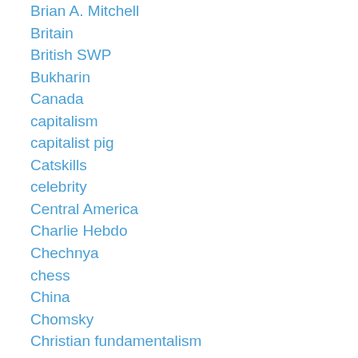Brian A. Mitchell
Britain
British SWP
Bukharin
Canada
capitalism
capitalist pig
Catskills
celebrity
Central America
Charlie Hebdo
Chechnya
chess
China
Chomsky
Christian fundamentalism
CIA
Civil Rights movement
Civil War
class-reductionism